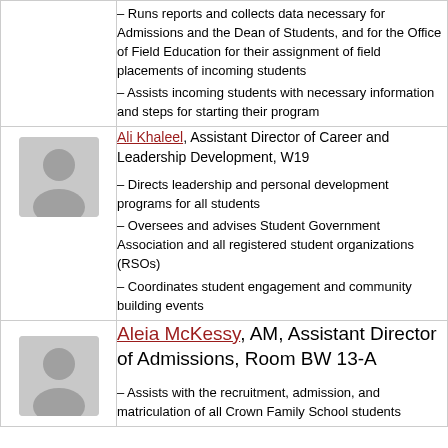– Runs reports and collects data necessary for Admissions and the Dean of Students, and for the Office of Field Education for their assignment of field placements of incoming students
– Assists incoming students with necessary information and steps for starting their program
[Figure (photo): Headshot photo of Ali Khaleel]
Ali Khaleel, Assistant Director of Career and Leadership Development, W19
– Directs leadership and personal development programs for all students
– Oversees and advises Student Government Association and all registered student organizations (RSOs)
– Coordinates student engagement and community building events
[Figure (photo): Headshot photo of Aleia McKessy]
Aleia McKessy, AM, Assistant Director of Admissions, Room BW 13-A
– Assists with the recruitment, admission, and matriculation of all Crown Family School students